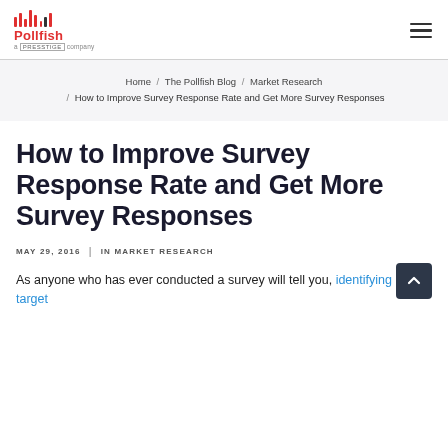[Figure (logo): Pollfish logo with red bar chart icon and 'Pollfish' text, 'a presstige company' tagline]
Home / The Pollfish Blog / Market Research / How to Improve Survey Response Rate and Get More Survey Responses
How to Improve Survey Response Rate and Get More Survey Responses
MAY 29, 2016 | IN MARKET RESEARCH
As anyone who has ever conducted a survey will tell you, identifying a target